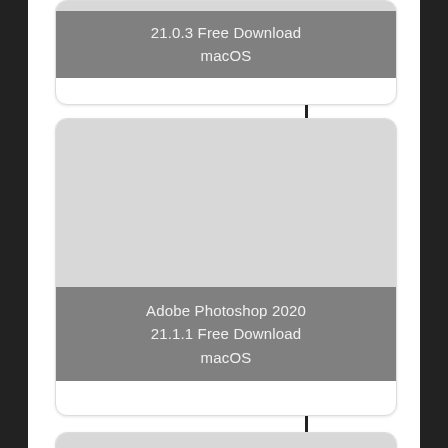[Figure (screenshot): Partial card at top showing label: 21.0.3 Free Download macOS]
21.0.3 Free Download macOS
[Figure (screenshot): Card with gray image area and label: Adobe Photoshop 2020 21.1.1 Free Download macOS]
Adobe Photoshop 2020 21.1.1 Free Download macOS
[Figure (screenshot): Card with gray image area and label: Adobe Photoshop 2020 21.0.2 Free Download macOS]
Adobe Photoshop 2020 21.0.2 Free Download macOS
[Figure (screenshot): Partial card at bottom with gray image area, label cut off]